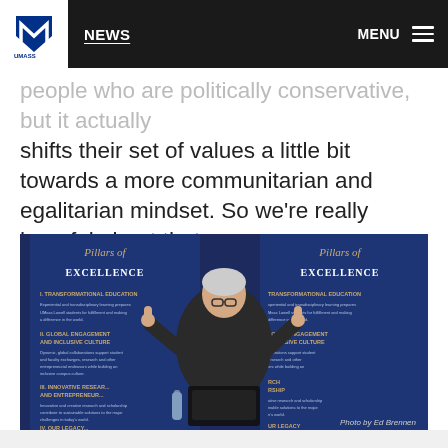NEWS   MENU
people who are politically conservative, but it actually shifts their set of values a little bit towards a more communitarian and egalitarian mindset. So we're really hopeful about that.
[Figure (photo): A speaker standing at a podium giving a thumbs up gesture in front of UMass Lowell 'Pillars of Excellence' banners listing Transformational Education, Global Engagement and Inclusive Culture, Innovative Research and Entrepreneurship, and Our Legacy. Photo by Ed Brennen.]
Photo by Ed Brennen